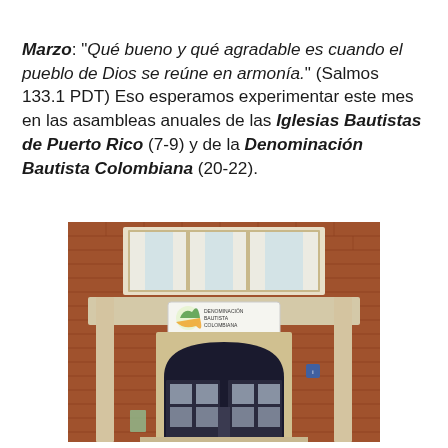Marzo: "Qué bueno y qué agradable es cuando el pueblo de Dios se reúne en armonía." (Salmos 133.1 PDT) Eso esperamos experimentar este mes en las asambleas anuales de las Iglesias Bautistas de Puerto Rico (7-9) y de la Denominación Bautista Colombiana (20-22).
[Figure (photo): Photograph of a brick building entrance with an arched white door, white-framed windows above, and a sign with a logo (Denominación Bautista Colombiana) on the facade.]